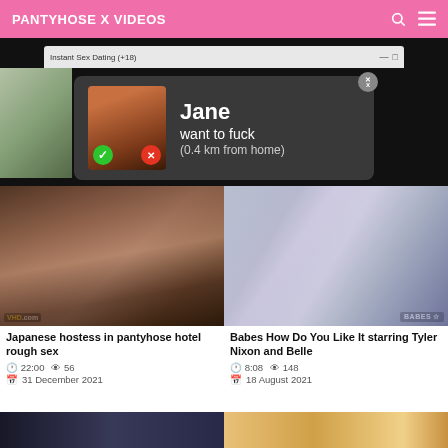PANTYHOSE X VIDEOS
[Figure (screenshot): Advertisement banner: Instant Sex Dating (+18) popup showing 'Jane want to fuck (0.4 km from home)' with accept/decline buttons]
[Figure (photo): Video thumbnail: Japanese hostess in pantyhose hotel rough sex, VHD.com watermark]
Japanese hostess in pantyhose hotel rough sex
22:00  56  31 December 2021
[Figure (photo): Video thumbnail: Babes How Do You Like It starring Tyler Nixon and Belle, BABES watermark]
Babes How Do You Like It starring Tyler Nixon and Belle
8:08  148  18 August 2021